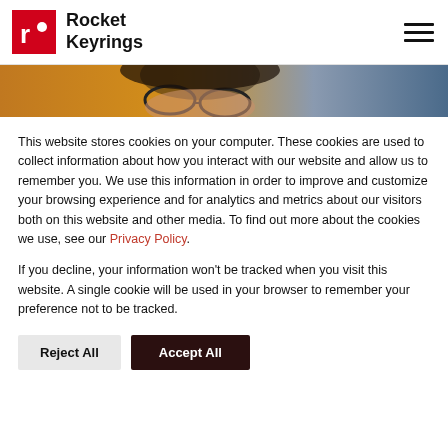Rocket Keyrings
[Figure (photo): Partial view of a woman wearing glasses, cropped hero banner image with warm orange/amber tones]
This website stores cookies on your computer. These cookies are used to collect information about how you interact with our website and allow us to remember you. We use this information in order to improve and customize your browsing experience and for analytics and metrics about our visitors both on this website and other media. To find out more about the cookies we use, see our Privacy Policy.
If you decline, your information won't be tracked when you visit this website. A single cookie will be used in your browser to remember your preference not to be tracked.
Reject All  Accept All